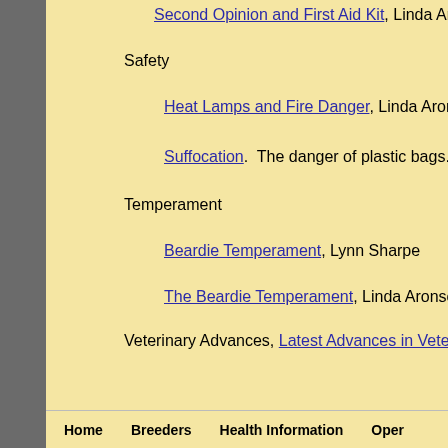Second Opinion and First Aid Kit, Linda Arons
Safety
Heat Lamps and Fire Danger, Linda Aronson
Suffocation.  The danger of plastic bags.
Temperament
Beardie Temperament, Lynn Sharpe
The Beardie Temperament, Linda Aronson.
Veterinary Advances, Latest Advances in Vete...
Who Will Take Care of My Dogs? Chris Walko
Home   Breeders   Health Information   Oper...